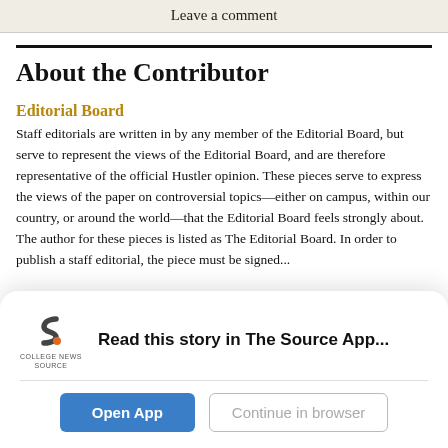Leave a comment
About the Contributor
Editorial Board
Staff editorials are written in by any member of the Editorial Board, but serve to represent the views of the Editorial Board, and are therefore representative of the official Hustler opinion. These pieces serve to express the views of the paper on controversial topics—either on campus, within our country, or around the world—that the Editorial Board feels strongly about. The author for these pieces is listed as The Editorial Board. In order to publish a staff editorial, the piece must be signed...
Read this story in The Source App...
Open App
Continue in browser